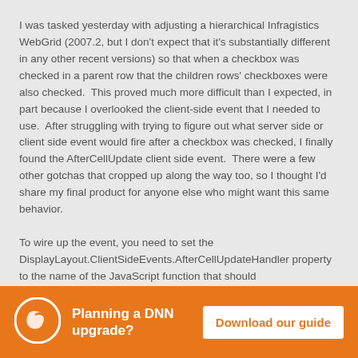I was tasked yesterday with adjusting a hierarchical Infragistics WebGrid (2007.2, but I don't expect that it's substantially different in any other recent versions) so that when a checkbox was checked in a parent row that the children rows' checkboxes were also checked.  This proved much more difficult than I expected, in part because I overlooked the client-side event that I needed to use.  After struggling with trying to figure out what server side or client side event would fire after a checkbox was checked, I finally found the AfterCellUpdate client side event.  There were a few other gotchas that cropped up along the way too, so I thought I'd share my final product for anyone else who might want this same behavior.

To wire up the event, you need to set the DisplayLayout.ClientSideEvents.AfterCellUpdateHandler property to the name of the JavaScript function that should
Planning a DNN upgrade?
Download our guide